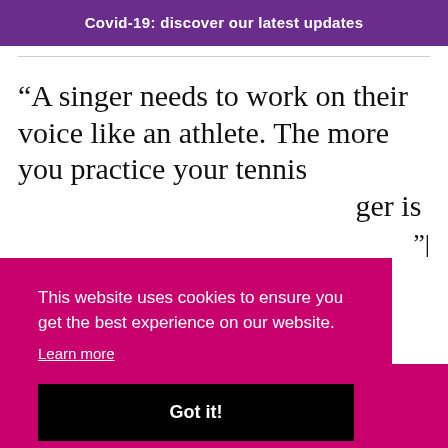Covid-19: discover our latest updates
“A singer needs to work on their voice like an athlete. The more you practice your tennis … ger is … ”|
This website uses cookies to ensure you get the best experience on our website.
Learn more
Got it!
Mie Burnett is often the first person artists